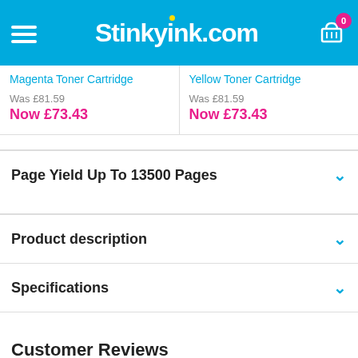Stinkyink.com
Magenta Toner Cartridge — Was £81.59 Now £73.43
Yellow Toner Cartridge — Was £81.59 Now £73.43
Page Yield Up To 13500 Pages
Product description
Specifications
Customer Reviews
Customer reviews for the Remanufactured HP 651A Black Toner Cartridge